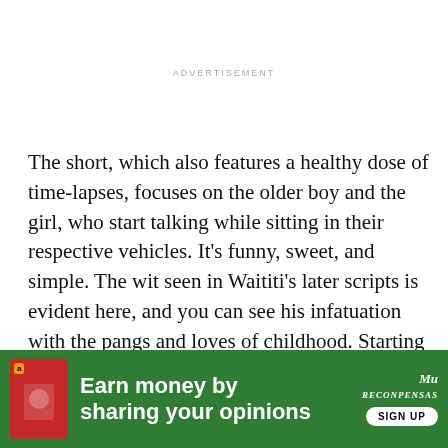ADVERTISEMENT
The short, which also features a healthy dose of time-lapses, focuses on the older boy and the girl, who start talking while sitting in their respective vehicles. It’s funny, sweet, and simple. The wit seen in Waititi’s later scripts is evident here, and you can see his infatuation with the pangs and loves of childhood. Starting off with the two kids flipping each other off, they then end up sitting in her car, talking about her plastic diamond ring and giving the smallest, softest smiles you can possibly give. “Two Cars, One Night” grows on you, much like the kids in the
[Figure (infographic): Green advertisement banner for earning money by sharing opinions, with Amazon branding icon on the left, bold white text 'Earn money by sharing your opinions', a logo on the right, and a SIGN UP button. Close buttons visible at top right.]